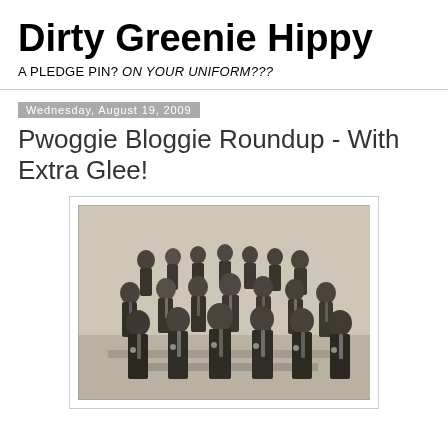Dirty Greenie Hippy
A PLEDGE PIN? ON YOUR UNIFORM???
Wednesday, August 19, 2009
Pwoggie Bloggie Roundup - With Extra Glee!
[Figure (photo): Vintage black-and-white group photograph of approximately 18-20 young men in dark suits and ties, posed in three rows on risers or steps in an indoor setting.]